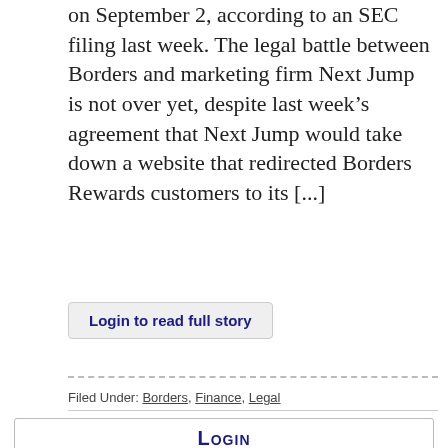on September 2, according to an SEC filing last week. The legal battle between Borders and marketing firm Next Jump is not over yet, despite last week's agreement that Next Jump would take down a website that redirected Borders Rewards customers to its [...]
Login to read full story
Filed Under: Borders, Finance, Legal
Login
User name:
Password: